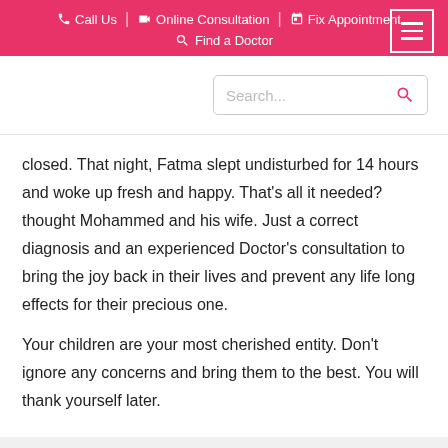Call Us | Online Consultation | Fix Appointment | Find a Doctor
closed. That night, Fatma slept undisturbed for 14 hours and woke up fresh and happy. That's all it needed? thought Mohammed and his wife. Just a correct diagnosis and an experienced Doctor's consultation to bring the joy back in their lives and prevent any life long effects for their precious one.
Your children are your most cherished entity. Don't ignore any concerns and bring them to the best. You will thank yourself later.
← Previous Post    Next Post →